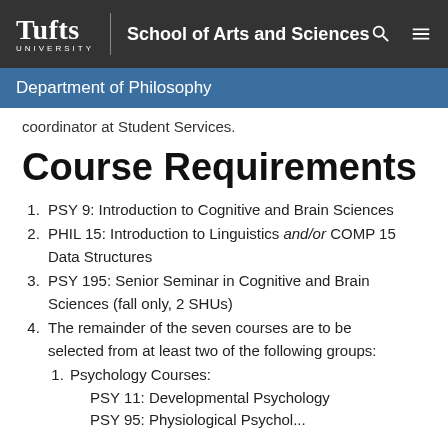Tufts University | School of Arts and Sciences
Department of Philosophy
coordinator at Student Services.
Course Requirements
PSY 9: Introduction to Cognitive and Brain Sciences
PHIL 15: Introduction to Linguistics and/or COMP 15 Data Structures
PSY 195: Senior Seminar in Cognitive and Brain Sciences (fall only, 2 SHUs)
The remainder of the seven courses are to be selected from at least two of the following groups:
Psychology Courses:
PSY 11: Developmental Psychology
PSY 95: Physiological Psychol...